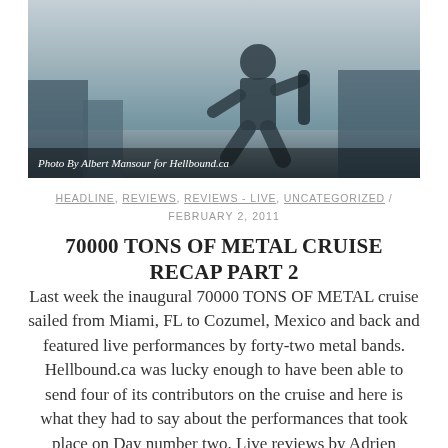[Figure (photo): Concert photo of a performer on stage, black and white / muted tones. Caption reads: Photo By Albert Mansour for Hellbound.ca]
HEADLINE, REVIEWS, REVIEWS - LIVE, UNCATEGORIZED / FEBRUARY 2, 2011
70000 TONS OF METAL CRUISE RECAP PART 2
Last week the inaugural 70000 TONS OF METAL cruise sailed from Miami, FL to Cozumel, Mexico and back and featured live performances by forty-two metal bands. Hellbound.ca was lucky enough to have been able to send four of its contributors on the cruise and here is what they had to say about the performances that took place on Day number two. Live reviews by Adrien Begrand, Albert Mansour, Kevin Stewart-Panko and Sean Palmerston. All photography by Albert Mansour unless listed